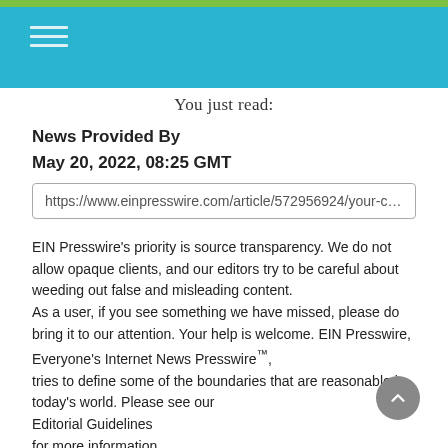You just read:
News Provided By
May 20, 2022, 08:25 GMT
https://www.einpresswire.com/article/572956924/your-crystal-la
EIN Presswire’s priority is source transparency. We do not allow opaque clients, and our editors try to be careful about weeding out false and misleading content.
As a user, if you see something we have missed, please do bring it to our attention. Your help is welcome. EIN Presswire, Everyone’s Internet News Presswire™,
tries to define some of the boundaries that are reasonable in today’s world. Please see our
Editorial Guidelines
for more information.